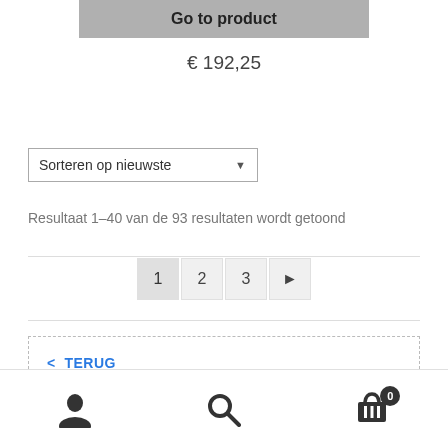Go to product
€ 192,25
Sorteren op nieuwste
Resultaat 1–40 van de 93 resultaten wordt getoond
1  2  3  ▶
<  TERUG
user icon | search icon | cart icon (0)